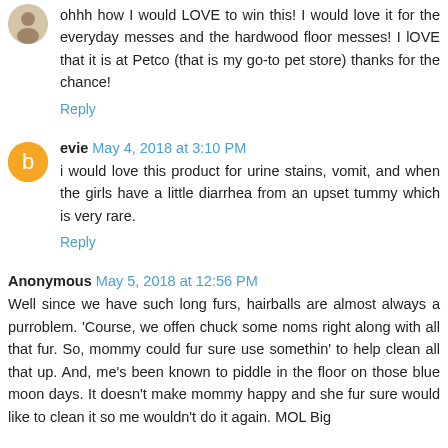ohhh how I would LOVE to win this! I would love it for the everyday messes and the hardwood floor messes! I lOVE that it is at Petco (that is my go-to pet store) thanks for the chance!
Reply
evie May 4, 2018 at 3:10 PM
i would love this product for urine stains, vomit, and when the girls have a little diarrhea from an upset tummy which is very rare.
Reply
Anonymous May 5, 2018 at 12:56 PM
Well since we have such long furs, hairballs are almost always a purroblem. 'Course, we offen chuck some noms right along with all that fur. So, mommy could fur sure use somethin' to help clean all that up. And, me's been known to piddle in the floor on those blue moon days. It doesn't make mommy happy and she fur sure would like to clean it so me wouldn't do it again. MOL Big